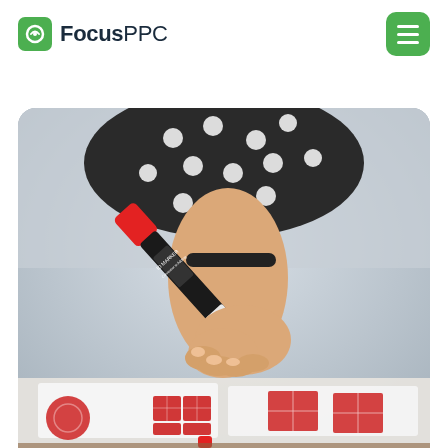[Figure (logo): FocusPPC logo with green rounded square icon and text 'FocusPPC' where 'Focus' is bold]
[Figure (other): Green rounded square hamburger menu button with three white horizontal lines]
[Figure (photo): Photo of a person wearing a black and white polka-dot top, holding a red marker/pen over papers on a desk with red-labeled stickers/documents visible]